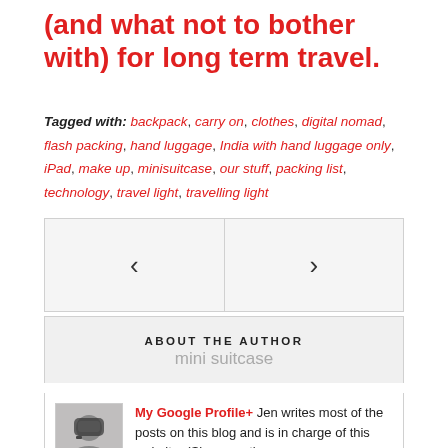(and what not to bother with) for long term travel.
Tagged with: backpack, carry on, clothes, digital nomad, flash packing, hand luggage, India with hand luggage only, iPad, make up, minisuitcase, our stuff, packing list, technology, travel light, travelling light
[Figure (other): Navigation block with left arrow and right arrow for previous/next post]
ABOUT THE AUTHOR
mini suitcase
My Google Profile+ Jen writes most of the posts on this blog and is in charge of this website. (She secretly